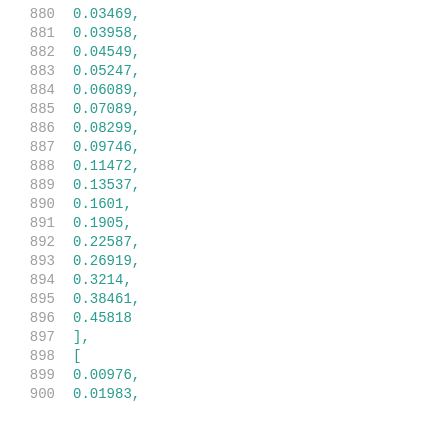| line | code |
| --- | --- |
| 880 | 0.03469, |
| 881 | 0.03958, |
| 882 | 0.04549, |
| 883 | 0.05247, |
| 884 | 0.06089, |
| 885 | 0.07089, |
| 886 | 0.08299, |
| 887 | 0.09746, |
| 888 | 0.11472, |
| 889 | 0.13537, |
| 890 | 0.1601, |
| 891 | 0.1905, |
| 892 | 0.22587, |
| 893 | 0.26919, |
| 894 | 0.3214, |
| 895 | 0.38461, |
| 896 | 0.45818 |
| 897 | ], |
| 898 | [ |
| 899 | 0.00976, |
| 900 | 0.01983, |